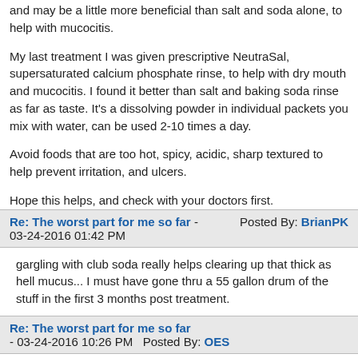and may be a little more beneficial than salt and soda alone, to help with mucocitis.
My last treatment I was given prescriptive NeutraSal, supersaturated calcium phosphate rinse, to help with dry mouth and mucocitis. I found it better than salt and baking soda rinse as far as taste. It's a dissolving powder in individual packets you mix with water, can be used 2-10 times a day.
Avoid foods that are too hot, spicy, acidic, sharp textured to help prevent irritation, and ulcers.
Hope this helps, and check with your doctors first.
Re: The worst part for me so far - 03-24-2016 01:42 PM   Posted By: BrianPK
gargling with club soda really helps clearing up that thick as hell mucus... I must have gone thru a 55 gallon drum of the stuff in the first 3 months post treatment.
Re: The worst part for me so far - 03-24-2016 10:26 PM   Posted By: OES
Brian- 3 months- I hope it is gone much sooner than that. I already passed the 3 week mark that many said it stopped for. Tomorrow will be 5 weeks post radiation. Paul B I have a bottle of Juven mixed up and waiting for me in the other room. Hope it does not taste awful and does